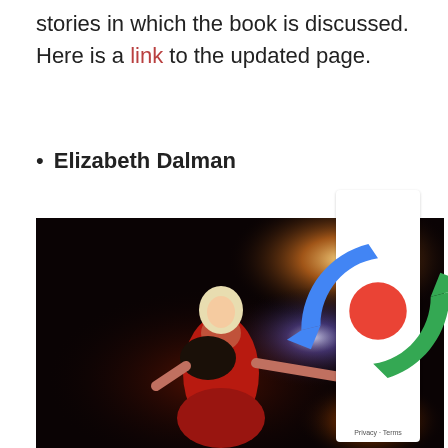stories in which the book is discussed. Here is a link to the updated page.
Elizabeth Dalman
[Figure (photo): A woman with short blonde hair wearing a red dress and black shawl performing on stage with colorful stage lights (orange, purple) in the background.]